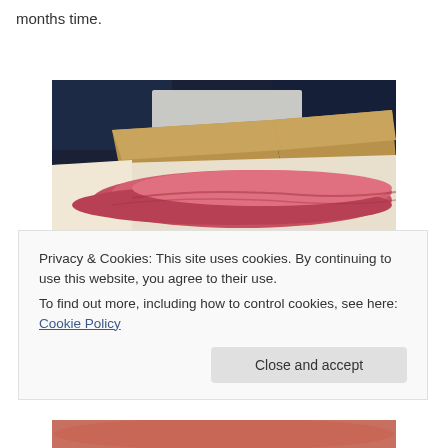months time.
[Figure (photo): Close-up photo of a deli meat sandwich on toasted multigrain bread, served on white paper/wrapping, with dark background.]
Privacy & Cookies: This site uses cookies. By continuing to use this website, you agree to their use.
To find out more, including how to control cookies, see here: Cookie Policy
Close and accept